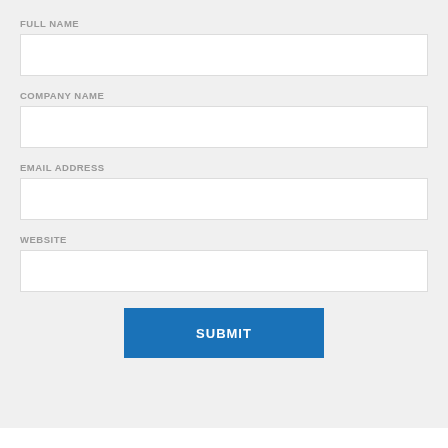FULL NAME
[Figure (other): Empty text input field for Full Name]
COMPANY NAME
[Figure (other): Empty text input field for Company Name]
EMAIL ADDRESS
[Figure (other): Empty text input field for Email Address]
WEBSITE
[Figure (other): Empty text input field for Website]
SUBMIT